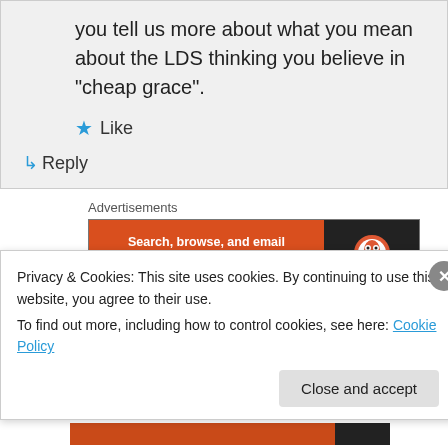you tell us more about what you mean about the LDS thinking you believe in “cheap grace”.
★ Like
↳ Reply
Advertisements
[Figure (screenshot): DuckDuckGo advertisement banner: orange left side with text 'Search, browse, and email with more privacy. All in One Free App', dark right side with DuckDuckGo logo]
Cal on April 10, 2010 at 1:13 am
Privacy & Cookies: This site uses cookies. By continuing to use this website, you agree to their use.
To find out more, including how to control cookies, see here: Cookie Policy
Close and accept